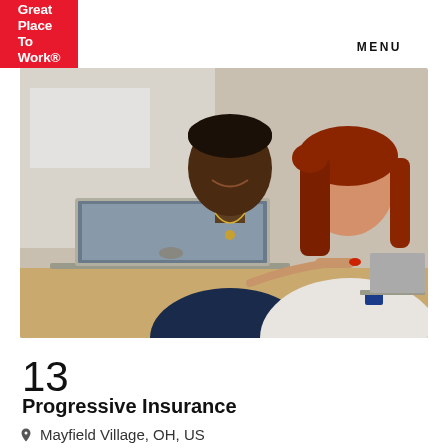Great Place To Work.
MENU
[Figure (photo): Two colleagues smiling and looking at a laptop together in an office environment. A young Black man in a navy polo shirt and a woman with red hair in a white top are seated at a desk, with the woman pointing at the laptop screen.]
13
Progressive Insurance
Mayfield Village, OH, US